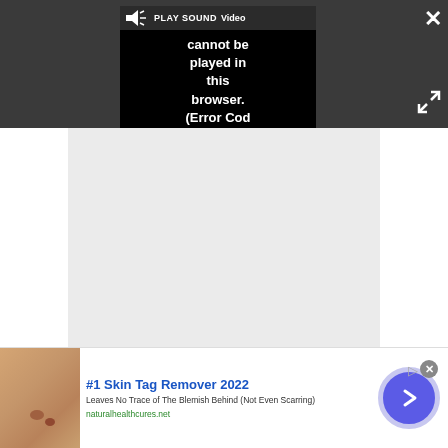[Figure (screenshot): Dark video player bar with black video window showing error message: 'Video cannot be played in this browser. (Error Cod'. A speaker/sound icon and 'PLAY SOUND' text appear in the top-left of the video. Close (X) button top-right and expand arrows icon on right side.]
Video cannot be played in this browser. (Error Cod
PLAY SOUND
[Figure (screenshot): Light gray empty area below the video player.]
[Figure (infographic): Advertisement bar at bottom. Shows skin tag image on left, title '#1 Skin Tag Remover 2022', description 'Leaves No Trace of The Blemish Behind (Not Even Scarring)', URL 'naturalhealthcures.net', purple circular arrow button on right. Small X close button and ad badge icon.]
#1 Skin Tag Remover 2022
Leaves No Trace of The Blemish Behind (Not Even Scarring)
naturalhealthcures.net